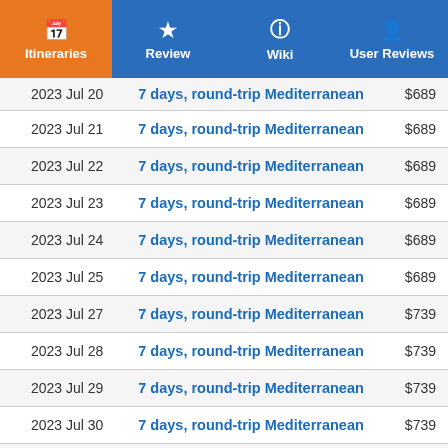Itineraries | Review | Wiki | User Reviews
| Date | Itinerary | Price |
| --- | --- | --- |
| 2023 Jul 20 | 7 days, round-trip Mediterranean | $689 |
| 2023 Jul 21 | 7 days, round-trip Mediterranean | $689 |
| 2023 Jul 22 | 7 days, round-trip Mediterranean | $689 |
| 2023 Jul 23 | 7 days, round-trip Mediterranean | $689 |
| 2023 Jul 24 | 7 days, round-trip Mediterranean | $689 |
| 2023 Jul 25 | 7 days, round-trip Mediterranean | $689 |
| 2023 Jul 27 | 7 days, round-trip Mediterranean | $739 |
| 2023 Jul 28 | 7 days, round-trip Mediterranean | $739 |
| 2023 Jul 29 | 7 days, round-trip Mediterranean | $739 |
| 2023 Jul 30 | 7 days, round-trip Mediterranean | $739 |
| 2023 Jul 31 | 7 days, round-trip Mediterranean | $739 |
| 2023 Aug 01 | 7 days, round-trip Mediterranean | $739 |